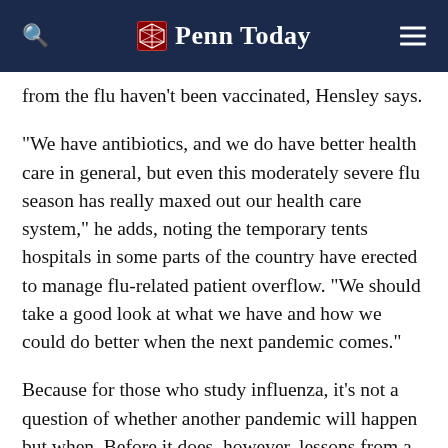Penn Today
from the flu haven't been vaccinated, Hensley says.
“We have antibiotics, and we do have better health care in general, but even this moderately severe flu season has really maxed out our health care system,” he adds, noting the temporary tents hospitals in some parts of the country have erected to manage flu-related patient overflow. “We should take a good look at what we have and how we could do better when the next pandemic comes.”
Because for those who study influenza, it’s not a question of whether another pandemic will happen but when. Before it does, however, lessons from a century ago will continue to shape the work of researchers at